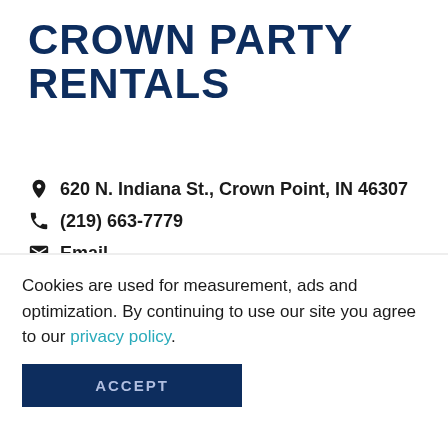CROWN PARTY RENTALS
620 N. Indiana St., Crown Point, IN 46307
(219) 663-7779
Email
VIEW WEBSITE →
[Figure (infographic): Advertisement banner for Albanese Gummies with colorful candy image and text 'Treat Yourself to the World's Best Gummies at Albanese →']
MAP
Cookies are used for measurement, ads and optimization. By continuing to use our site you agree to our privacy policy.
ACCEPT